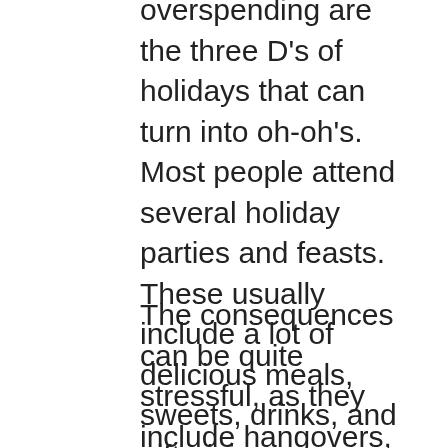overspending are the three D's of holidays that can turn into oh-oh's. Most people attend several holiday parties and feasts. These usually include a lot of delicious meals, sweets, drinks, and gift-giving.
The consequences can be quite stressful, as they include hangovers, weight gain (and a subsequent loss of self-esteem), financial problems, health deterioration, and more. Try to find moderation in these things. If you can't find strength inside yourself, find an accountability buddy to help you maintain balance. That might be your